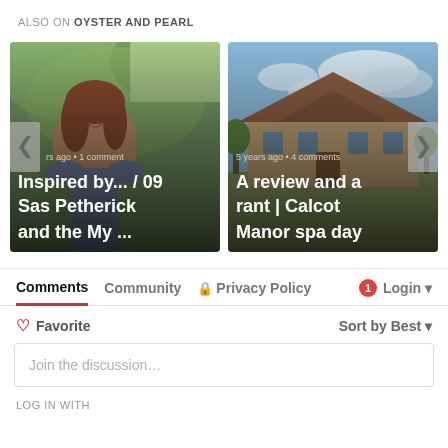ALSO ON OYSTER AND PEARL
[Figure (photo): Card 1: photo of a woman with reddish-brown hair outdoors with green foliage background. Overlay text: 'rs ago • 1 comment' and 'Inspired by... / 09 Sas Petherick and the My ...']
[Figure (photo): Card 2: photo of a building/manor with blue sky and clouds. Overlay text: '5 years ago • 4 comments' and 'A review and a rant | Calcot Manor spa day']
Comments  Community  🔒 Privacy Policy  1  Login
♡ Favorite
Sort by Best
Join the discussion...
LOG IN WITH